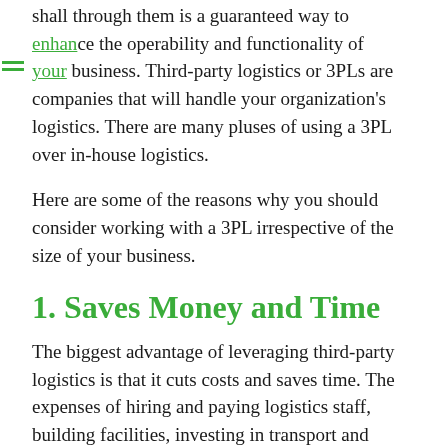enhance the operability and functionality of your business. Third-party logistics or 3PLs are companies that will handle your organization's logistics. There are many pluses of using a 3PL over in-house logistics.
Here are some of the reasons why you should consider working with a 3PL irrespective of the size of your business.
1. Saves Money and Time
The biggest advantage of leveraging third-party logistics is that it cuts costs and saves time. The expenses of hiring and paying logistics staff, building facilities, investing in transport and technology, and taking care of all the paperwork is shifted to the 3PL. Moreover, 3PLs have tried and tested methods to increase productivity at